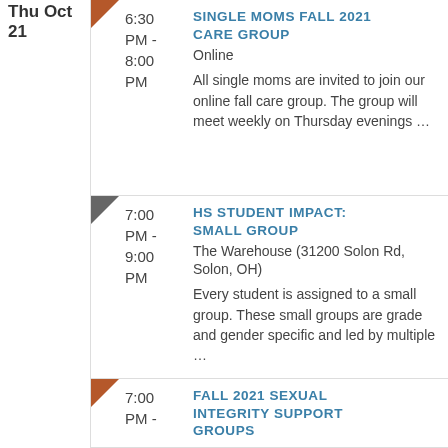Thu Oct 21
6:30 PM - 8:00 PM | SINGLE MOMS FALL 2021 CARE GROUP | Online | All single moms are invited to join our online fall care group. The group will meet weekly on Thursday evenings …
7:00 PM - 9:00 PM | HS STUDENT IMPACT: SMALL GROUP | The Warehouse (31200 Solon Rd, Solon, OH) | Every student is assigned to a small group. These small groups are grade and gender specific and led by multiple …
7:00 PM - | FALL 2021 SEXUAL INTEGRITY SUPPORT GROUPS